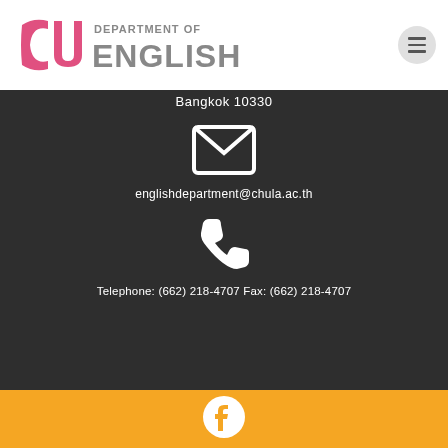[Figure (logo): CU Department of English logo with pink CU letters and gray DEPARTMENT OF ENGLISH text]
[Figure (other): Hamburger menu button (three horizontal lines) in a circular button]
Bangkok 10330
[Figure (illustration): White envelope/mail icon on dark background]
englishdepartment@chula.ac.th
[Figure (illustration): White telephone/phone icon on dark background]
Telephone: (662) 218-4707 Fax: (662) 218-4707
[Figure (illustration): Facebook icon (white circle with F) on orange background]